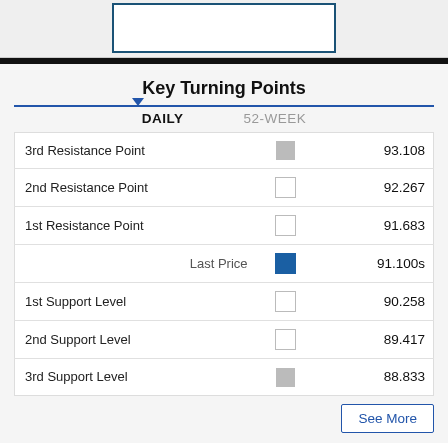[Figure (other): Partial top section showing a white box with dark teal border on a light gray background]
Key Turning Points
DAILY   52-WEEK
| Label |  | Value |
| --- | --- | --- |
| 3rd Resistance Point |  | 93.108 |
| 2nd Resistance Point |  | 92.267 |
| 1st Resistance Point |  | 91.683 |
| Last Price |  | 91.100s |
| 1st Support Level |  | 90.258 |
| 2nd Support Level |  | 89.417 |
| 3rd Support Level |  | 88.833 |
See More